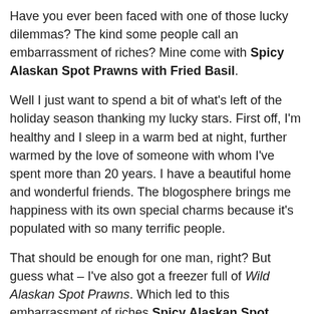Have you ever been faced with one of those lucky dilemmas? The kind some people call an embarrassment of riches? Mine come with Spicy Alaskan Spot Prawns with Fried Basil.
Well I just want to spend a bit of what's left of the holiday season thanking my lucky stars. First off, I'm healthy and I sleep in a warm bed at night, further warmed by the love of someone with whom I've spent more than 20 years. I have a beautiful home and wonderful friends. The blogosphere brings me happiness with its own special charms because it's populated with so many terrific people.
That should be enough for one man, right? But guess what – I've also got a freezer full of Wild Alaskan Spot Prawns. Which led to this embarrassment of riches Spicy Alaskan Spot Prawns with Fried Basil.
You see, some friends and I came together to celebrate the holidays with a traditional Italian style Feast of the Seven